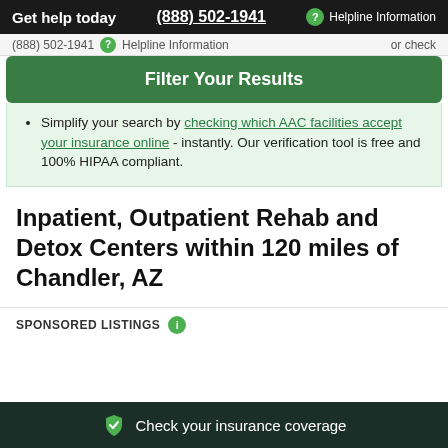Get help today   (888) 502-1941   Helpline Information
(888) 502-1941   Helpline Information   or check
Filter Your Results
Simplify your search by checking which AAC facilities accept your insurance online - instantly. Our verification tool is free and 100% HIPAA compliant.
Inpatient, Outpatient Rehab and Detox Centers within 120 miles of Chandler, AZ
SPONSORED LISTINGS
Check your insurance coverage